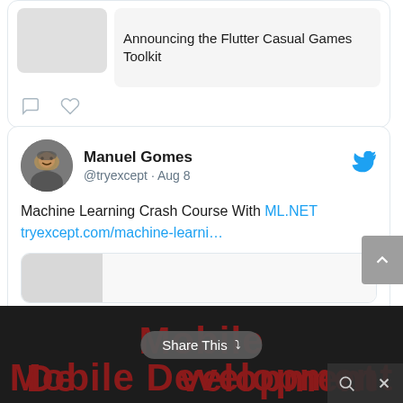[Figure (screenshot): Partial tweet card showing 'Announcing the Flutter Casual Games Toolkit' with a card preview image and comment/heart action icons below]
[Figure (screenshot): Tweet by Manuel Gomes (@tryexcept · Aug 8) about 'Machine Learning Crash Course With ML.NET' with link tryexcept.com/machine-learni... and a Twitter bird icon]
[Figure (screenshot): Dark footer area showing 'Mobile Development' title in dark red, with 'Share This' overlay button and search/close icons]